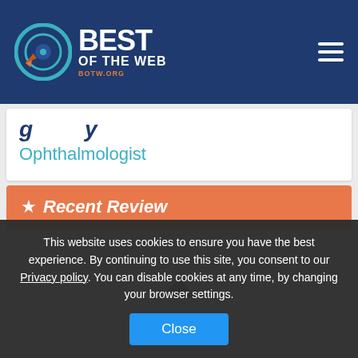[Figure (logo): Best of the Web (BOTW.ORG) logo with circular target icon in navy header]
Ophthalmologist
★ Recent Review
This website uses cookies to ensure you have the best experience. By continuing to use this site, you consent to our Privacy policy. You can disable cookies at any time, by changing your browser settings.